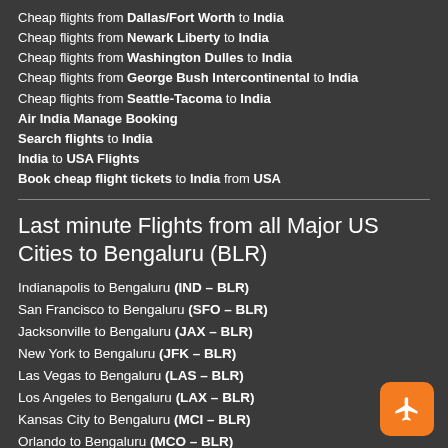Cheap flights from Dallas/Fort Worth to India
Cheap flights from Newark Liberty to India
Cheap flights from Washington Dulles to India
Cheap flights from George Bush Intercontinental to India
Cheap flights from Seattle-Tacoma to India
Air India Manage Booking
Search flights to India
India to USA Flights
Book cheap flight tickets to India from USA
Last minute Flights from all Major US Cities to Bengaluru (BLR)
Indianapolis to Bengaluru (IND – BLR)
San Francisco to Bengaluru (SFO – BLR)
Jacksonville to Bengaluru (JAX – BLR)
New York to Bengaluru (JFK – BLR)
Las Vegas to Bengaluru (LAS – BLR)
Los Angeles to Bengaluru (LAX – BLR)
Kansas City to Bengaluru (MCI – BLR)
Orlando to Bengaluru (MCO – BLR)